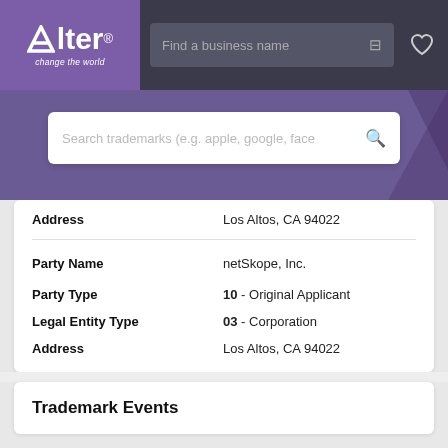[Figure (logo): Alter 'change the world' logo in purple box]
Find a business name
| Field | Value |
| --- | --- |
| Address | Los Altos, CA 94022 |
| Party Name | netSkope, Inc. |
| Party Type | 10 - Original Applicant |
| Legal Entity Type | 03 - Corporation |
| Address | Los Altos, CA 94022 |
Trademark Events